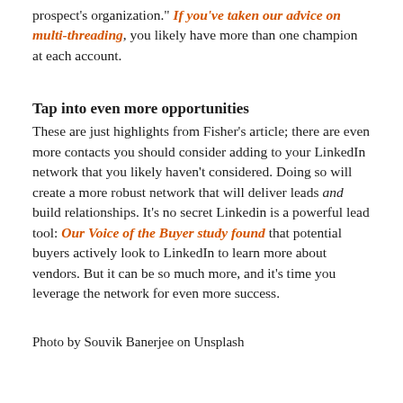prospect's organization." If you've taken our advice on multi-threading, you likely have more than one champion at each account.
Tap into even more opportunities
These are just highlights from Fisher's article; there are even more contacts you should consider adding to your LinkedIn network that you likely haven't considered. Doing so will create a more robust network that will deliver leads and build relationships. It's no secret Linkedin is a powerful lead tool: Our Voice of the Buyer study found that potential buyers actively look to LinkedIn to learn more about vendors. But it can be so much more, and it's time you leverage the network for even more success.
Photo by Souvik Banerjee on Unsplash